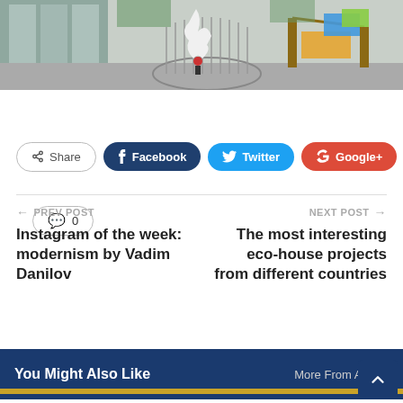[Figure (photo): Outdoor photo showing a playground area with a white abstract sculpture in a circular metal cage/fence, glass building wall on left, colorful playground equipment on right]
0
Share  Facebook  Twitter  Google+  +
← PREV POST
Instagram of the week: modernism by Vadim Danilov
NEXT POST →
The most interesting eco-house projects from different countries
You Might Also Like   More From Author